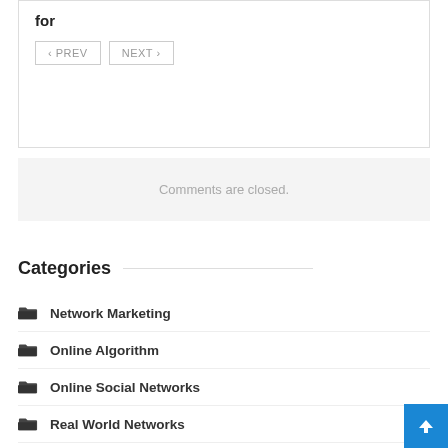… watch out for
< PREV   NEXT >
Comments are closed.
Categories
Network Marketing
Online Algorithm
Online Social Networks
Real World Networks
World Wide Web